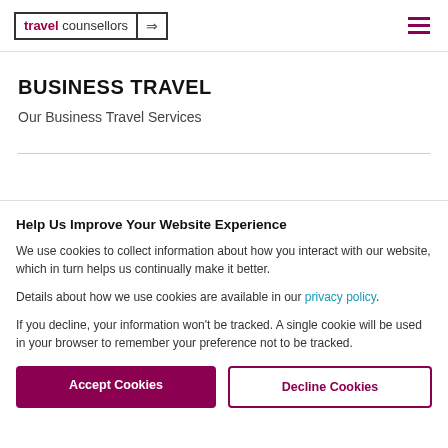travel counsellors [logo with arrow]
BUSINESS TRAVEL
Our Business Travel Services
Help Us Improve Your Website Experience
We use cookies to collect information about how you interact with our website, which in turn helps us continually make it better.
Details about how we use cookies are available in our privacy policy.
If you decline, your information won't be tracked. A single cookie will be used in your browser to remember your preference not to be tracked.
Accept Cookies | Decline Cookies